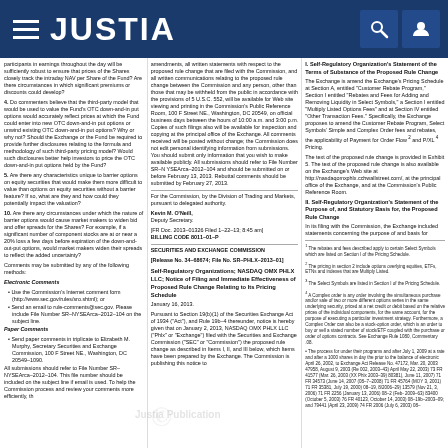JUSTIA
participants in earnings throughout the day will be sufficiently robust to ensure that prices of the Shares closely track the intraday NAV per Share of the Fund? Are there circumstances in which significant premiums or discounts could develop?
4. Do commenters believe that the third-party model that would be used to value the Fund's OTC down-and-in put options would accurately reflect prices at which the Fund could enter into new OTC down-and-in put options or unwind existing OTC down-and-in put options? Why or why not? Should the Exchange or the Fund be required to provide further disclosures relating to the formula and methodology of such third-party pricing model? Would such disclosures better help investors to price the OTC down-and-in put options held by the Fund?
5. Are there any characteristics unique to barrier options on equity securities that would make them more difficult to value than options on equity securities without a barrier feature? If so, what are they and how could they potentially impact the valuation?
10. Are there any circumstances under which the nature of barrier options would cause market makers to widen bid and offer spreads for the Shares? For example, if a significant number of component stocks are at or near a 20% loss a few days before expiration of the down-and-out-put options, would market makers widen their spreads to reflect the added uncertainty?
Comments may be submitted by any of the following methods:
Electronic Comments
• Use the Commission's Internet comment form (http://www.sec.gov/rules/sro.shtml); or
• Send an email to rule-comments@sec.gov. Please include File Number SR–NYSEArca–2012–104 on the subject line.
Paper Comments
• Send paper comments in triplicate to Elizabeth M. Murphy, Secretary Securities and Exchange Commission, 100 F Street NE., Washington, DC 20549–1090.
All submissions should refer to File Number SR–NYSEArca–2012–104. This file number should be included on the subject line if email is used. To help the Commission process and review your comments more efficiently, please use only one method. The Commission will post all comments on the Commission's Internet Web site (http://www.sec.gov/rules/sro.shtml).
amendments, all written statements with respect to the proposed rule change that are filed with the Commission, and all written communications relating to the proposed rule change between the Commission and any person, other than those that may be withheld from the public in accordance with the provisions of 5 U.S.C. 552, will be available for Web site viewing and printing in the Commission's Public Reference Room, 100 F Street NE., Washington, DC 20549, on official business days between the hours of 10:00 a.m. and 3:00 p.m. Copies of such filings also will be available for inspection and copying at the principal office of the Exchange. All comments received will be posted without change; the Commission does not edit personal identifying information from submissions. You should submit only information that you wish to make available publicly. All submissions should refer to File Number SR–N YSEArca–2012–104 and should be submitted on or before February 13, 2013. Rebuttal comments should be submitted by February 27, 2013.
For the Commission, by the Division of Trading and Markets, pursuant to delegated authority.
Kevin M. O'Neill,
Deputy Secretary.
[FR Doc. 2013–01326 Filed 1–22–13; 8:45 am]
BILLING CODE 8011–01–P
SECURITIES AND EXCHANGE COMMISSION
[Release No. 34–68674; File No. SR–PHLX–2013–01]
Self-Regulatory Organizations; NASDAQ OMX PHLX LLC; Notice of Filing and Immediate Effectiveness of Proposed Rule Change Relating to Its Pricing Schedule
January 16, 2013.
Pursuant to Section 19(b)(1) of the Securities Exchange Act of 1934 ("Act"), and Rule 19b–4 thereunder, notice is hereby given that on January 2, 2013, NASDAQ OMX PHLX LLC ("Phlx" or "Exchange") filed with the Securities and Exchange Commission ("SEC" or "Commission") the proposed rule change as described in Items I, II, and III below, which Items have been prepared by the Exchange. The Commission is publishing this notice to solicit comments on the proposed rule change from interested persons.
I. Self-Regulatory Organization's Statement of the Terms of Substance of the Proposed Rule Change
The Exchange is amend the Exchange's Pricing Schedule at Section A, entitled "Customer Rebate Program," Section I entitled "Rebates and Fees for Adding and Removing Liquidity in Select Symbols," a Section I entitled "Multiply Listed Options Fees" and at Section IV entitled "Other Transaction Fees." Specifically, the Exchange proposes to amend the Customer Rebate Program, Select Symbols' Simple and Complex Order fees and rebates, the applicability of Payment for Order Flow 2 and P/XL 4 Pricing.
The text of the proposed rule change is provided in Exhibit 5. The text of the proposed rule change is also available on the Exchange's Web site at http://nasdaqomxphlx.cchwallstreet.com/, at the principal office of the Exchange, and at the Commission's Public Reference Room.
II. Self-Regulatory Organization's Statement of the Purpose of, and Statutory Basis for, the Proposed Rule Change
In its filing with the Commission, the Exchange included statements concerning the purpose of and basis for
1 The rebates and fees described apply to certain Select Symbols which are listed on Section I of the Pricing Schedule.
2 The pricing in section 2 include options overlying equities, ETFs, ETNs and indexes that are Multiply Listed.
3 The Select Symbols are listed in Section I of the Pricing Schedule.
4 A Complex order is any order involving the simultaneous purchase and/or sale of two or more different options series in the same underlying security, priced at a net credit or debit based on the relative prices of the individual components...